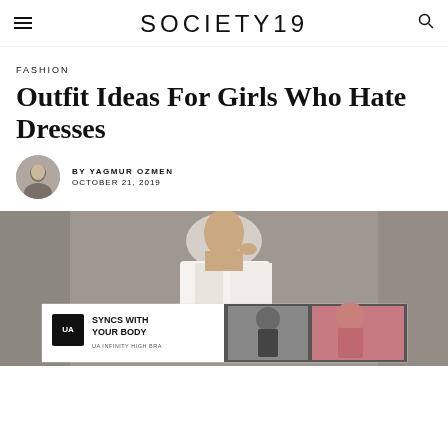SOCIETY19
FASHION
Outfit Ideas For Girls Who Hate Dresses
BY YAGMUR OZMEN
OCTOBER 21, 2019
[Figure (photo): Hero image of a woman in a white blazer touching her neck, with a UA Infinity High Bra advertisement banner overlaid at the bottom reading 'SYNCS WITH YOUR BODY']